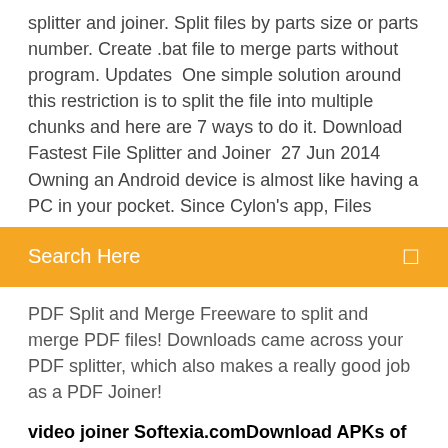splitter and joiner. Split files by parts size or parts number. Create .bat file to merge parts without program. Updates  One simple solution around this restriction is to split the file into multiple chunks and here are 7 ways to do it. Download Fastest File Splitter and Joiner  27 Jun 2014 Owning an Android device is almost like having a PC in your pocket. Since Cylon's app, Files
Search Here
PDF Split and Merge Freeware to split and merge PDF files! Downloads came across your PDF splitter, which also makes a really good job as a PDF Joiner!
video joiner Softexia.comDownload APKs of Free Android Apps by Panic softhttps://androidfreeware.net/developer-8667.htmlDownload best free apps by Panic soft like AnimeDLR, Pictures Optimizer, Files Splitter and Joiner